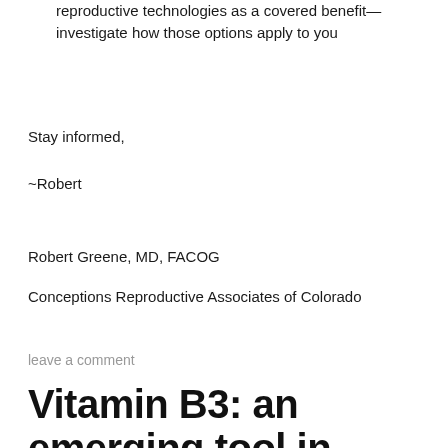reproductive technologies as a covered benefit—investigate how those options apply to you
Stay informed,
~Robert
Robert Greene, MD, FACOG
Conceptions Reproductive Associates of Colorado
leave a comment
Vitamin B3: an emerging tool in reducing the risk